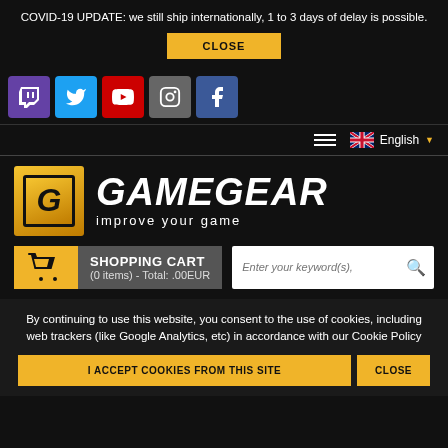COVID-19 UPDATE: we still ship internationally, 1 to 3 days of delay is possible.
CLOSE
[Figure (screenshot): Social media icons: Twitch (purple), Twitter (blue), YouTube (red), Instagram (grey), Facebook (blue)]
English
[Figure (logo): GameGear logo — gold G icon and white bold italic GAMEGEAR text with 'improve your game' subtitle]
SHOPPING CART
(0 items) - Total: .00EUR
By continuing to use this website, you consent to the use of cookies, including web trackers (like Google Analytics, etc) in accordance with our Cookie Policy
I ACCEPT COOKIES FROM THIS SITE
CLOSE